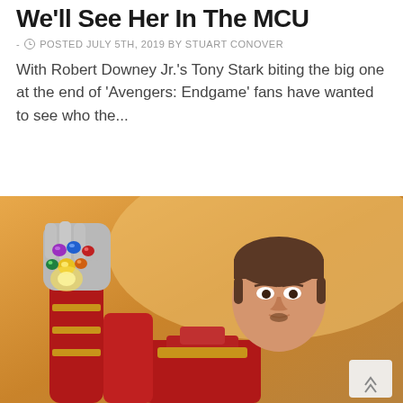We'll See Her In The MCU
- POSTED JULY 5TH, 2019 BY STUART CONOVER
With Robert Downey Jr.'s Tony Stark biting the big one at the end of 'Avengers: Endgame' fans have wanted to see who the...
[Figure (photo): Action figure or collectible of Tony Stark / Iron Man holding up the Infinity Gauntlet, wearing the Iron Man suit. Background is a warm orange/amber tone.]